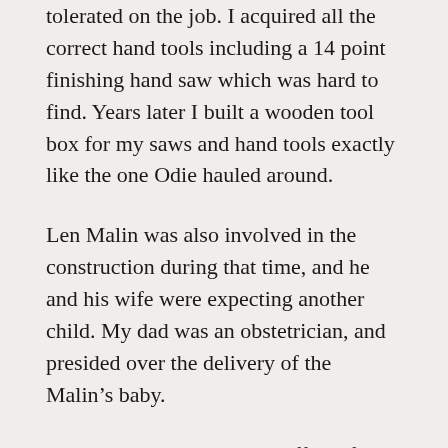tolerated on the job. I acquired all the correct hand tools including a 14 point finishing hand saw which was hard to find. Years later I built a wooden tool box for my saws and hand tools exactly like the one Odie hauled around.
Len Malin was also involved in the construction during that time, and he and his wife were expecting another child. My dad was an obstetrician, and presided over the delivery of the Malin’s baby.
I went back to work in the office after the summer, and the following summer worked for Johnny on a big house in Palos Verdes (not one of John’s), the Malin house having been completed, at least Johnny’s part.
While working for John, I built the first model of the Sheats Residence, the first presentation floor plans and some of the working drawings; the working